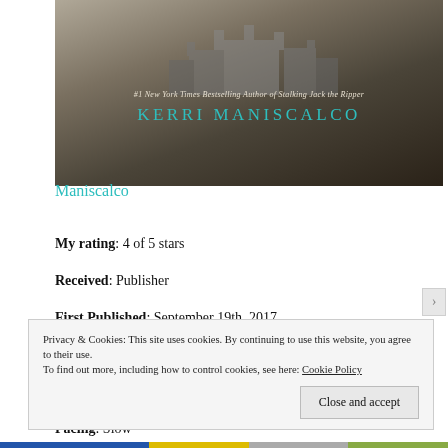[Figure (photo): Book cover for a novel by Kerri Maniscalco. Dark, moody cover with a castle/fortress silhouette. Text reads: #1 New York Times Bestselling Author of Stalking Jack the Ripper. Author name: KERRI MANISCALCO in teal letters.]
Maniscalco
My rating: 4 of 5 stars
Received: Publisher
First Published: September 19th, 2017
Publisher: Little, Brown and Company
Recommended Age: 12+
Pacing: Slow
Genres & Themes: Young Adult, Historical Fiction,
Privacy & Cookies: This site uses cookies. By continuing to use this website, you agree to their use.
To find out more, including how to control cookies, see here: Cookie Policy
Close and accept